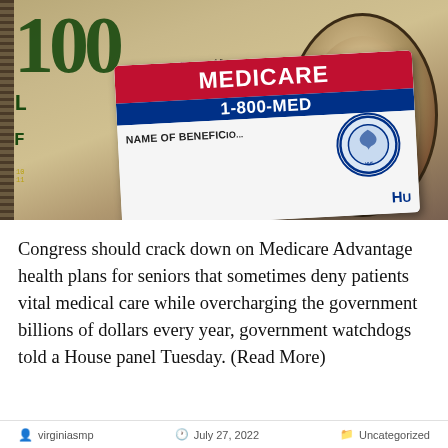[Figure (photo): A $100 Federal Reserve Note bill with a Medicare card (showing '1-800-MED', 'NAME OF BENEFIC...', red and blue stripes, HHS seal) overlaid on top, and Benjamin Franklin's portrait visible on the right side of the bill.]
Congress should crack down on Medicare Advantage health plans for seniors that sometimes deny patients vital medical care while overcharging the government billions of dollars every year, government watchdogs told a House panel Tuesday. (Read More)
virginiasmp   July 27, 2022   Uncategorized